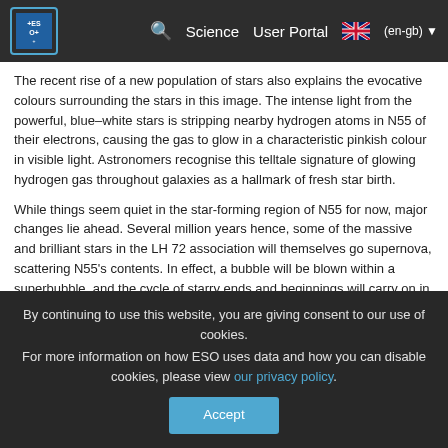ESO navigation bar with logo, search, Science, User Portal, (en-gb)
The recent rise of a new population of stars also explains the evocative colours surrounding the stars in this image. The intense light from the powerful, blue–white stars is stripping nearby hydrogen atoms in N55 of their electrons, causing the gas to glow in a characteristic pinkish colour in visible light. Astronomers recognise this telltale signature of glowing hydrogen gas throughout galaxies as a hallmark of fresh star birth.
While things seem quiet in the star-forming region of N55 for now, major changes lie ahead. Several million years hence, some of the massive and brilliant stars in the LH 72 association will themselves go supernova, scattering N55's contents. In effect, a bubble will be blown within a superbubble, and the cycle of starry ends and beginnings will carry on in this close neighbour of our home galaxy.
This new image was acquired using the FOcal Reducer and low
By continuing to use this website, you are giving consent to our use of cookies.
For more information on how ESO uses data and how you can disable cookies, please view our privacy policy.
Accept